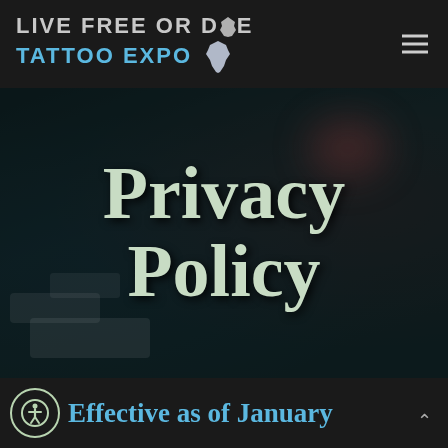LIVE FREE OR DIE TATTOO EXPO
Privacy Policy
Effective as of January